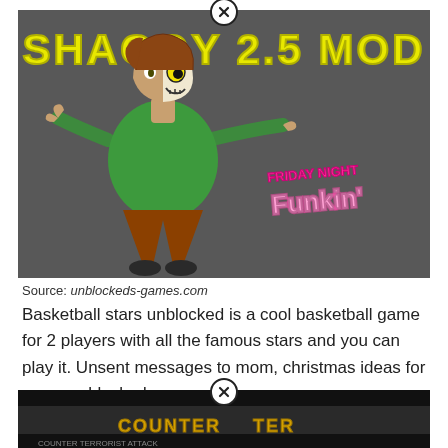[Figure (illustration): Game thumbnail image for 'Shaggy 2.5 Mod' — a Friday Night Funkin mod. Dark grey background showing animated Shaggy character with half-face mask, green shirt, brown pants, arms outstretched. Friday Night Funkin graffiti logo visible on right side. Yellow outlined 'SHAGGY 2.5 MOD' text at top. Close button (X in circle) at top center.]
Source: unblockeds-games.com
Basketball stars unblocked is a cool basketball game for 2 players with all the famous stars and you can play it. Unsent messages to mom, christmas ideas for mom, unblocked games mom.
[Figure (screenshot): Partial screenshot of 'Counter Terrorist Attack' game thumbnail with dark background and yellow text, partially visible at bottom of page. Close button (X in circle) at top center.]